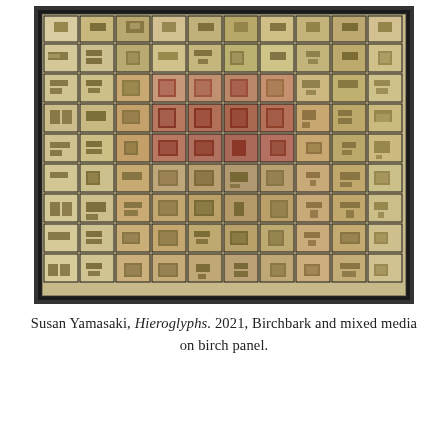[Figure (photo): Photograph of Susan Yamasaki's artwork 'Hieroglyphs' (2021), a mixed media piece made of birchbark arranged in a grid of square tiles with carved/inlaid geometric and rectangular symbol-like forms in gold and earth tones, displayed in a dark frame.]
Susan Yamasaki, Hieroglyphs. 2021, Birchbark and mixed media on birch panel.